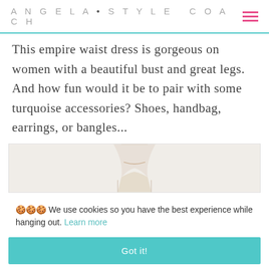ANGELA • STYLE COACH
This empire waist dress is gorgeous on women with a beautiful bust and great legs. And how fun would it be to pair with some turquoise accessories? Shoes, handbag, earrings, or bangles...
[Figure (photo): Partial view of a woman wearing a patterned empire waist dress, showing neck and upper body area]
🍪🍪🍪 We use cookies so you have the best experience while hanging out. Learn more
[Figure (other): Got it! button - teal/turquoise colored button]
[Figure (photo): Partial view of patterned dress at bottom of page]